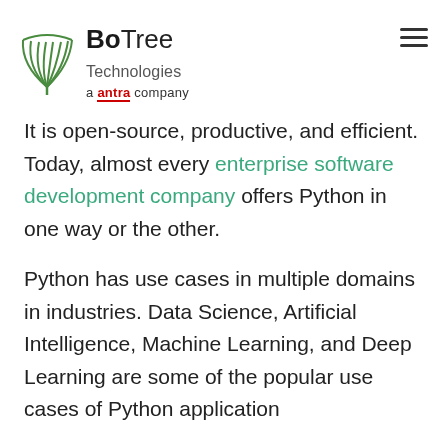BoTree Technologies — a antra company
It is open-source, productive, and efficient. Today, almost every enterprise software development company offers Python in one way or the other.
Python has use cases in multiple domains in industries. Data Science, Artificial Intelligence, Machine Learning, and Deep Learning are some of the popular use cases of Python application